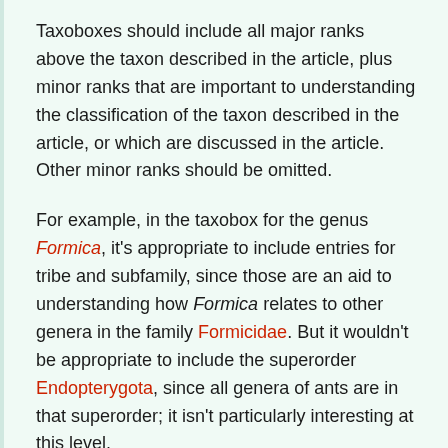Taxoboxes should include all major ranks above the taxon described in the article, plus minor ranks that are important to understanding the classification of the taxon described in the article, or which are discussed in the article. Other minor ranks should be omitted.
For example, in the taxobox for the genus Formica, it's appropriate to include entries for tribe and subfamily, since those are an aid to understanding how Formica relates to other genera in the family Formicidae. But it wouldn't be appropriate to include the superorder Endopterygota, since all genera of ants are in that superorder; it isn't particularly interesting at this level.
Another example is the subfamily Bambusoideae, the